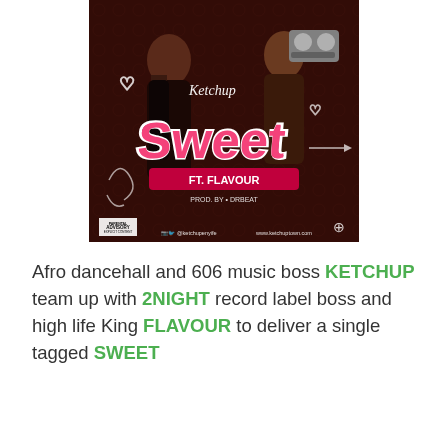[Figure (photo): Album art for Ketchup ft. Flavour - Sweet. Dark background with two figures, large stylized pink/white 'Sweet' text, 'Ft. Flavour' banner, 'Prod. By Drbeat' text, Parental Advisory label, social media handle @ketchupenyife, website www.ketchuptown.com]
Afro dancehall and 606 music boss KETCHUP team up with 2NIGHT record label boss and high life King FLAVOUR to deliver a single tagged SWEET